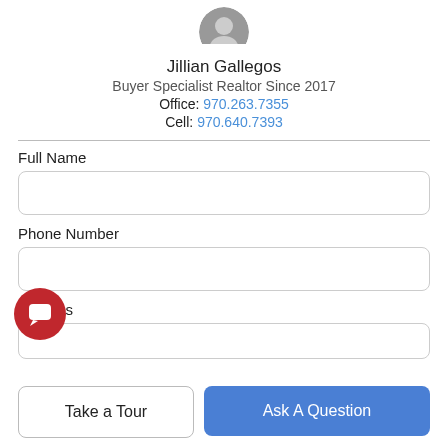[Figure (photo): Circular profile photo of Jillian Gallegos, partially cropped at top]
Jillian Gallegos
Buyer Specialist Realtor Since 2017
Office: 970.263.7355
Cell: 970.640.7393
Full Name
Phone Number
Address
Take a Tour
Ask A Question